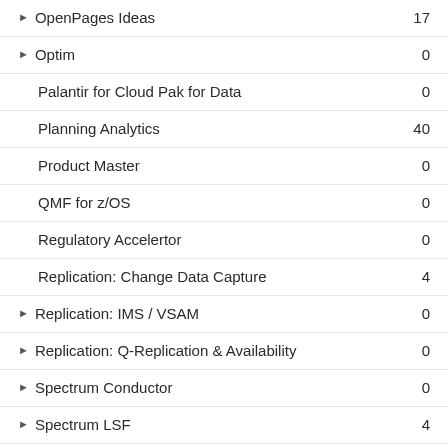OpenPages Ideas  17
Optim  0
Palantir for Cloud Pak for Data  0
Planning Analytics  40
Product Master  0
QMF for z/OS  0
Regulatory Accelertor  0
Replication: Change Data Capture  4
Replication: IMS / VSAM  0
Replication: Q-Replication & Availability  0
Spectrum Conductor  0
Spectrum LSF  4
Spectrum Symphony  0
Speech Services  0